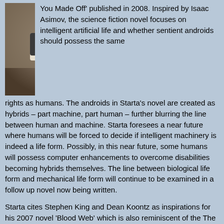[Figure (photo): Photo of a man in a white shirt and dark trousers, standing, on a brownish background]
You Made Off' published in 2008. Inspired by Isaac Asimov, the science fiction novel focuses on intelligent artificial life and whether sentient androids should possess the same rights as humans. The androids in Starta's novel are created as hybrids – part machine, part human – further blurring the line between human and machine. Starta foresees a near future where humans will be forced to decide if intelligent machinery is indeed a life form. Possibly, in this near future, some humans will possess computer enhancements to overcome disabilities becoming hybrids themselves. The line between biological life form and mechanical life form will continue to be examined in a follow up novel now being written.
Starta cites Stephen King and Dean Koontz as inspirations for his 2007 novel 'Blood Web' which is also reminiscent of the The X-files television/movie series. Contemporary authors Laurell K. Hamilton, Rachel Caine, Jim Butcher and Kelly Armstrong also fuel his aspiration to create paranormal suspense. The follow up novel to 'Blood Web' – 'Extreme Liquidation' explores Caitlin Diggs' supernatural gifts including the ability to see the future in dreams and to read a person's character through emotions.
Starta's crime novella 'Murder By Association' blends mystery with forensic investigation. It is a departure from previous books because it contains no science fiction or paranormal elements. Additionally, Starta foresees his 2008